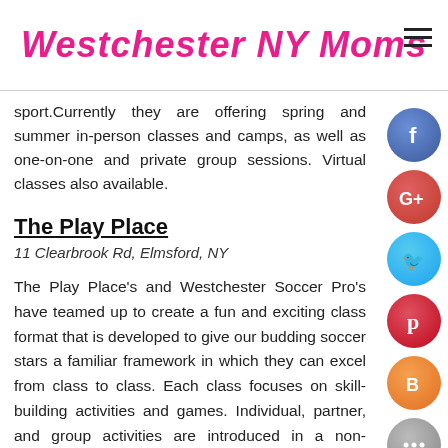Westchester NY Moms
sport. Currently they are offering spring and summer in-person classes and camps, as well as one-on-one and private group sessions. Virtual classes also available.
The Play Place
11 Clearbrook Rd, Elmsford, NY
The Play Place's and Westchester Soccer Pro's have teamed up to create a fun and exciting class format that is developed to give our budding soccer stars a familiar framework in which they can excel from class to class. Each class focuses on skill-building activities and games. Individual, partner, and group activities are introduced in a non-competitive environment to optimize the experience for each child. Indoor and outdoor sessions are available. They are offering a multi-sport summer